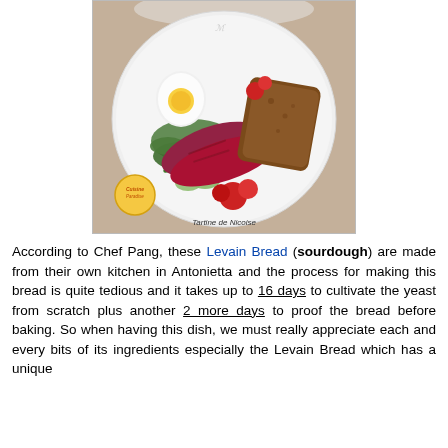[Figure (photo): A white plate with a Tartine de Nicoise dish featuring seared tuna slices, a soft-boiled egg, cherry tomatoes, green beans, cucumber, and mixed greens, with a slice of bread. A circular watermark logo 'Cuisine Paradise' is in the lower left. Caption reads 'Tartine de Nicoise'.]
According to Chef Pang, these Levain Bread (sourdough) are made from their own kitchen in Antonietta and the process for making this bread is quite tedious and it takes up to 16 days to cultivate the yeast from scratch plus another 2 more days to proof the bread before baking. So when having this dish, we must really appreciate each and every bits of its ingredients especially the Levain Bread which has a unique